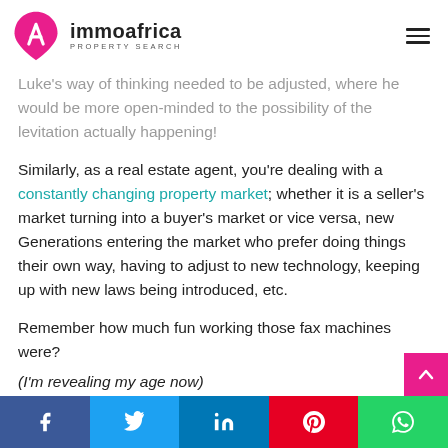immoafrica PROPERTY SEARCH
Luke's way of thinking needed to be adjusted, where he would be more open-minded to the possibility of the levitation actually happening!
Similarly, as a real estate agent, you're dealing with a constantly changing property market; whether it is a seller's market turning into a buyer's market or vice versa, new Generations entering the market who prefer doing things their own way, having to adjust to new technology, keeping up with new laws being introduced, etc.
Remember how much fun working those fax machines were?
(I'm revealing my age now)
Facebook Twitter LinkedIn Pinterest WhatsApp